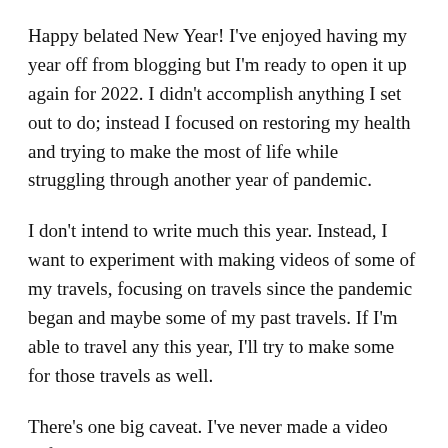Happy belated New Year! I've enjoyed having my year off from blogging but I'm ready to open it up again for 2022. I didn't accomplish anything I set out to do; instead I focused on restoring my health and trying to make the most of life while struggling through another year of pandemic.
I don't intend to write much this year. Instead, I want to experiment with making videos of some of my travels, focusing on travels since the pandemic began and maybe some of my past travels. If I'm able to travel any this year, I'll try to make some for those travels as well.
There's one big caveat. I've never made a video before; I'll have to learn as I go along. Since I don't actually have much video footage, they'll be mostly slideshow videos (with photos only) set to music. I'll try to take more videos while traveling in the